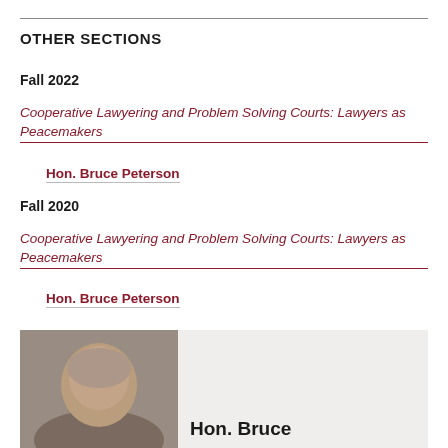OTHER SECTIONS
Fall 2022
Cooperative Lawyering and Problem Solving Courts: Lawyers as Peacemakers
Hon. Bruce Peterson
Fall 2020
Cooperative Lawyering and Problem Solving Courts: Lawyers as Peacemakers
Hon. Bruce Peterson
[Figure (photo): Headshot photo of Hon. Bruce Peterson next to a gray panel with text 'Hon. Bruce']